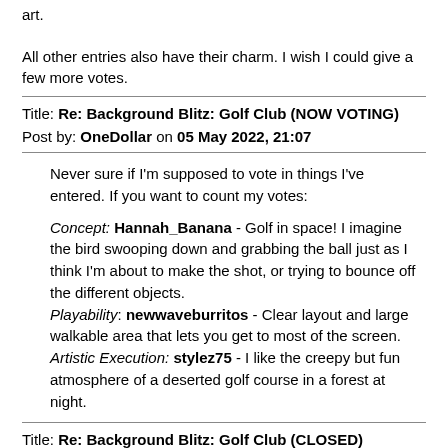art.
All other entries also have their charm. I wish I could give a few more votes.
Title: Re: Background Blitz: Golf Club (NOW VOTING)
Post by: OneDollar on 05 May 2022, 21:07
Never sure if I'm supposed to vote in things I've entered. If you want to count my votes:
Concept: Hannah_Banana - Golf in space! I imagine the bird swooping down and grabbing the ball just as I think I'm about to make the shot, or trying to bounce off the different objects. Playability: newwaveburritos - Clear layout and large walkable area that lets you get to most of the screen. Artistic Execution: stylez75 - I like the creepy but fun atmosphere of a deserted golf course in a forest at night.
Title: Re: Background Blitz: Golf Club (CLOSED)
Post by: Elvis Tanner on 11 May 2022, 06:02
Ladies and gentlemen, thank you for all your votes. And the winner is... OneDollar for Hole 19 at Captain Greenbeard's Pirate Mini Golf!
(https://onedollarproductions.co.uk/uploads/MiniGolfBG.png)